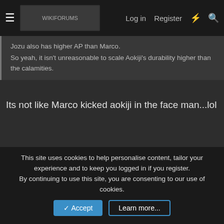Log in  Register
Jozu also has higher AP than Marco.
So yeah, it isn't unreasonable to scale Aokiji's durability higher than the calamities.
Its not like Marco kicked aokiji in the face man...lol
Igor_akainu_redog
[Figure (photo): Profile photo of a blonde-haired male character from a film/TV show]
[Figure (illustration): Happy Anniversary banner featuring a clown character with colorful imagery]
This site uses cookies to help personalise content, tailor your experience and to keep you logged in if you register.
By continuing to use this site, you are consenting to our use of cookies.
Accept   Learn more...